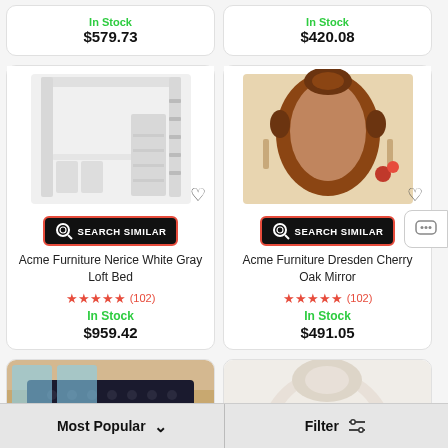In Stock
$579.73
In Stock
$420.08
[Figure (photo): White gray loft bed with desk and wardrobe]
[Figure (photo): Ornate cherry oak mirror with dark wood carved frame]
SEARCH SIMILAR
SEARCH SIMILAR
Acme Furniture Nerice White Gray Loft Bed
Acme Furniture Dresden Cherry Oak Mirror
★★★★★ (102)
In Stock
$959.42
★★★★★ (102)
In Stock
$491.05
[Figure (photo): Partial view of a dark tufted bed in a room]
[Figure (photo): Partial view of an ornate white/silver headboard]
Most Popular
Filter